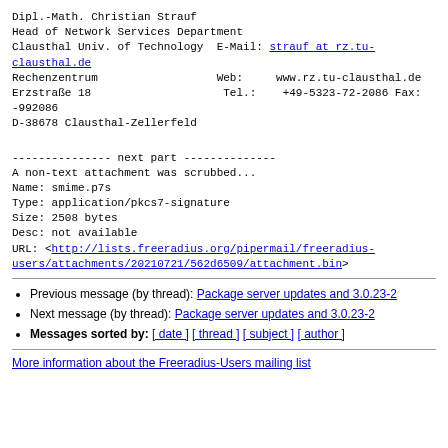Dipl.-Math. Christian Strauf
Head of Network Services Department
Clausthal Univ. of Technology   E-Mail: strauf at rz.tu-clausthal.de
Rechenzentrum                   Web:     www.rz.tu-clausthal.de
Erzstraße 18                    Tel.:    +49-5323-72-2086 Fax: -992086
D-38678 Clausthal-Zellerfeld
--------------- next part --------------
A non-text attachment was scrubbed...
Name: smime.p7s
Type: application/pkcs7-signature
Size: 2508 bytes
Desc: not available
URL: <http://lists.freeradius.org/pipermail/freeradius-users/attachments/20210721/562d6509/attachment.bin>
Previous message (by thread): Package server updates and 3.0.23-2
Next message (by thread): Package server updates and 3.0.23-2
Messages sorted by: [ date ] [ thread ] [ subject ] [ author ]
More information about the Freeradius-Users mailing list